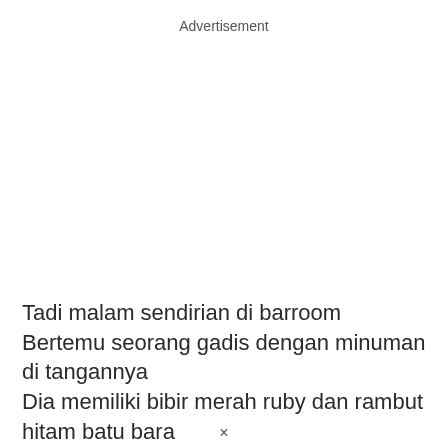Advertisement
Tadi malam sendirian di barroom
Bertemu seorang gadis dengan minuman di tangannya
Dia memiliki bibir merah ruby dan rambut hitam batu bara
Dan mata yang akan menggoda siapa pun
×